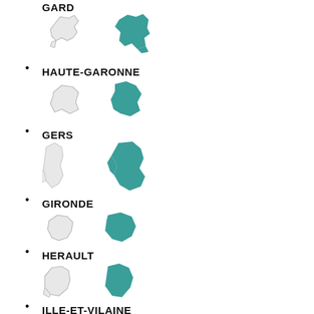GARD
[Figure (map): Two map outlines of GARD department: left is grey/outline, right is teal/filled]
HAUTE-GARONNE
[Figure (map): Two map outlines of HAUTE-GARONNE department: left is grey/outline, right is teal/filled]
GERS
[Figure (map): Two map outlines of GERS department: left is grey/outline, right is teal/filled]
GIRONDE
[Figure (map): Two map outlines of GIRONDE department: left is grey/outline, right is teal/filled]
HERAULT
[Figure (map): Two map outlines of HERAULT department: left is grey/outline, right is teal/filled]
ILLE-ET-VILAINE
[Figure (map): Two map outlines of ILLE-ET-VILAINE department: left is grey/outline, right is teal/filled]